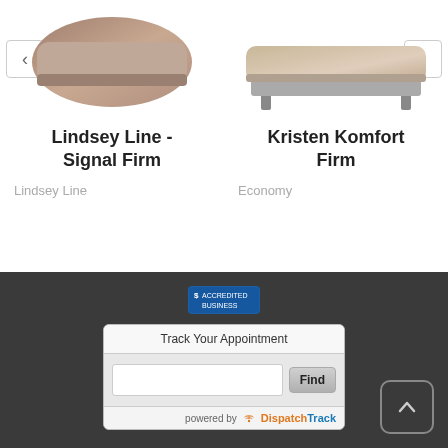[Figure (photo): Partial view of a mattress product image on the left side, cut off at the top]
[Figure (photo): Photo of a mattress with a bed base/frame on a light carpet background, right side]
Lindsey Line - Signal Firm
Lindsey Line
Kristen Komfort Firm
Economy
[Figure (logo): BBB Accredited Business badge]
Track Your Appointment
Find
powered by DispatchTrack